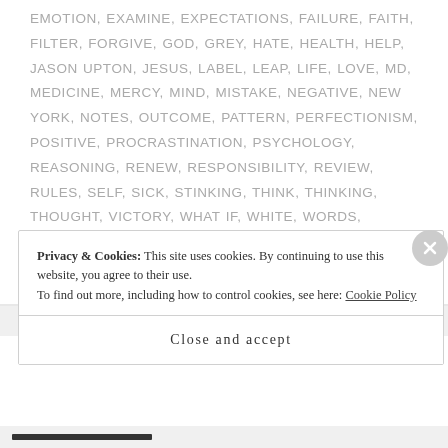EMOTION, EXAMINE, EXPECTATIONS, FAILURE, FAITH, FILTER, FORGIVE, GOD, GREY, HATE, HEALTH, HELP, JASON UPTON, JESUS, LABEL, LEAP, LIFE, LOVE, MD, MEDICINE, MERCY, MIND, MISTAKE, NEGATIVE, NEW YORK, NOTES, OUTCOME, PATTERN, PERFECTIONISM, POSITIVE, PROCRASTINATION, PSYCHOLOGY, REASONING, RENEW, RESPONSIBILITY, REVIEW, RULES, SELF, SICK, STINKING, THINK, THINKING, THOUGHT, VICTORY, WHAT IF, WHITE, WORDS, WORST, WORTHLESS
7 COMMENTS
Privacy & Cookies: This site uses cookies. By continuing to use this website, you agree to their use. To find out more, including how to control cookies, see here: Cookie Policy
Close and accept